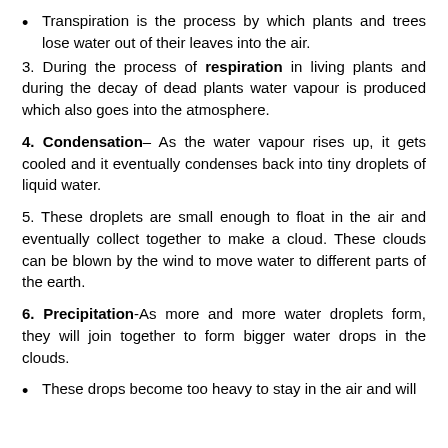Transpiration is the process by which plants and trees lose water out of their leaves into the air.
3. During the process of respiration in living plants and during the decay of dead plants water vapour is produced which also goes into the atmosphere.
4. Condensation– As the water vapour rises up, it gets cooled and it eventually condenses back into tiny droplets of liquid water.
5. These droplets are small enough to float in the air and eventually collect together to make a cloud. These clouds can be blown by the wind to move water to different parts of the earth.
6. Precipitation-As more and more water droplets form, they will join together to form bigger water drops in the clouds.
These drops become too heavy to stay in the air and will